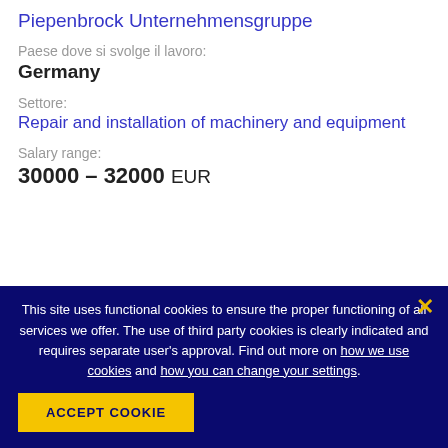Piepenbrock Unternehmensgruppe
Paese dove si svolge il lavoro:
Germany
Settore:
Repair and installation of machinery and equipment
Salary range:
30000 – 32000 EUR
This site uses functional cookies to ensure the proper functioning of all services we offer. The use of third party cookies is clearly indicated and requires separate user's approval. Find out more on how we use cookies and how you can change your settings.
ACCEPT COOKIE